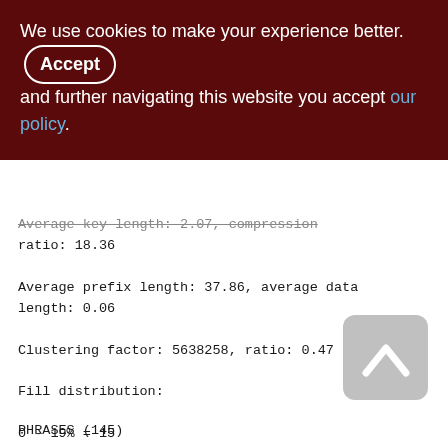We use cookies to make your experience better. By accepting and further navigating this website you accept our policy.
Average key length: 2.07, compression ratio: 18.36
Average prefix length: 37.86, average data length: 0.06
Clustering factor: 5638258, ratio: 0.47
Fill distribution:
0 - 19% = 15
20 - 39% = 3
40 - 59% = 12176
60 - 79% = 452
80 - 99% = 1678
PHRASES (145)